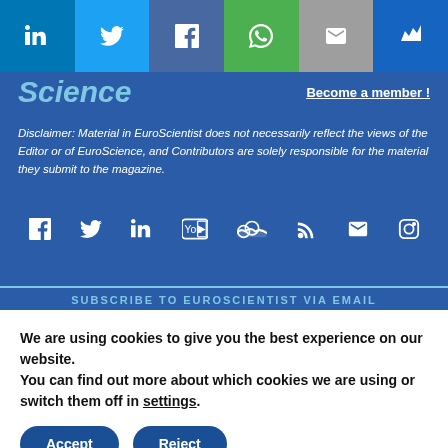[Figure (screenshot): Social media share buttons row: LinkedIn (blue), Twitter (light blue), Facebook (dark blue), WhatsApp (green), Email/envelope (grey), crown icon (dark blue)]
Science
Become a member !
Disclaimer: Material in EuroScientist does not necessarily reflect the views of the Editor or of EuroScience, and Contributors are solely responsible for the material they submit to the magazine.
[Figure (infographic): Social media icons row: Facebook, Twitter, LinkedIn, YouTube, SoundCloud, RSS, Email/envelope, Instagram — all white on blue background]
SUBSCRIBE TO EUROSCIENTIST VIA EMAIL
We are using cookies to give you the best experience on our website.
You can find out more about which cookies we are using or switch them off in settings.
Accept
Reject